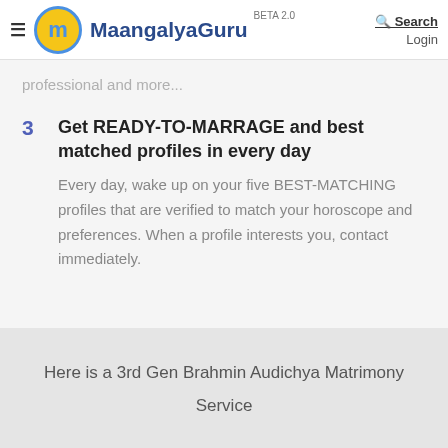MaangalyaGuru BETA 2.0 | Search | Login
professional and more...
3  Get READY-TO-MARRAGE and best matched profiles in every day
Every day, wake up on your five BEST-MATCHING profiles that are verified to match your horoscope and preferences. When a profile interests you, contact immediately.
Here is a 3rd Gen Brahmin Audichya Matrimony Service